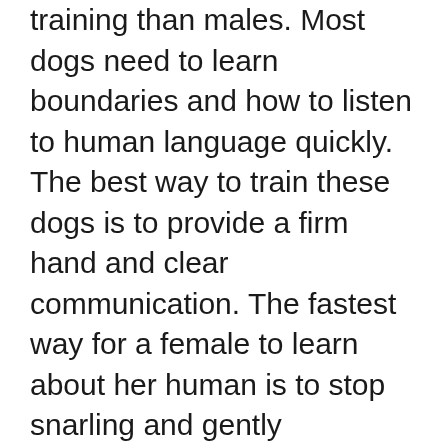training than males. Most dogs need to learn boundaries and how to listen to human language quickly. The best way to train these dogs is to provide a firm hand and clear communication. The fastest way for a female to learn about her human is to stop snarling and gently interrupting her. A male should never fight back or challenge a female. The best way to make sure a female guardian is a good match for your family is to introduce the two dogs.
The best way to train your guardian dog is to start by showing it what you